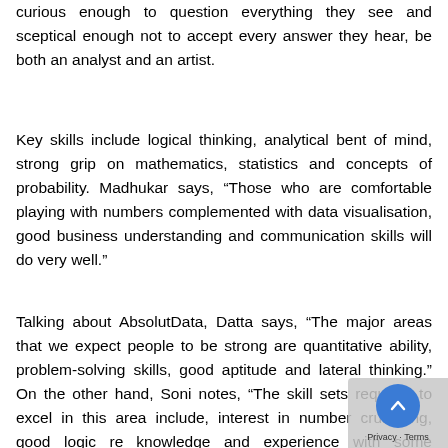curious enough to question everything they see and sceptical enough not to accept every answer they hear, be both an analyst and an artist.
Key skills include logical thinking, analytical bent of mind, strong grip on mathematics, statistics and concepts of probability. Madhukar says, “Those who are comfortable playing with numbers complemented with data visualisation, good business understanding and communication skills will do very well.”
Talking about AbsolutData, Datta says, “The major areas that we expect people to be strong are quantitative ability, problem-solving skills, good aptitude and lateral thinking.” On the other hand, Soni notes, “The skill sets required to excel in this area include, interest in number crunching, good logic re... knowledge and experience with some statistical p... programming knowledge and should be able to think out of the